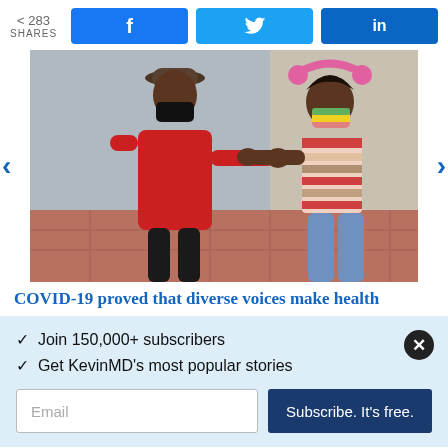283 SHARES
[Figure (screenshot): Social share buttons: Facebook (f), Twitter (bird icon), LinkedIn (in)]
[Figure (photo): Two people wearing face masks doing an elbow bump greeting outdoors. One person in red shirt and hat, the other in a striped top with pink headphones.]
COVID-19 proved that diverse voices make health
✓  Join 150,000+ subscribers
✓  Get KevinMD's most popular stories
Email | Subscribe. It's free.